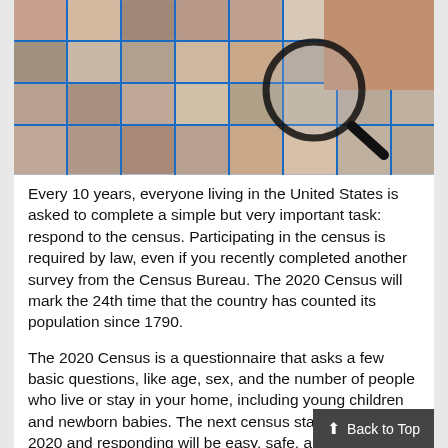[Figure (photo): A collage of many faces of diverse people arranged in a grid pattern with blue borders, with a hand holding a magnifying glass over the collage.]
Every 10 years, everyone living in the United States is asked to complete a simple but very important task: respond to the census. Participating in the census is required by law, even if you recently completed another survey from the Census Bureau. The 2020 Census will mark the 24th time that the country has counted its population since 1790.
The 2020 Census is a questionnaire that asks a few basic questions, like age, sex, and the number of people who live or stay in your home, including young children and newborn babies. The next census starts in March of 2020 and responding will be easy, safe, and impo...